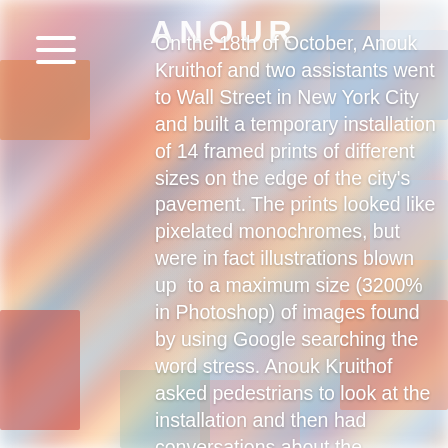[Figure (photo): Blurred colorful background showing abstract pixelated color prints/images in various colors including orange, red, blue, pink, yellow and white]
On the 18th of October, Anouk Kruithof and two assistants went to Wall Street in New York City and built a temporary installation of 14 framed prints of different sizes on the edge of the city's pavement. The prints looked like pixelated monochromes, but were in fact illustrations blown up to a maximum size (3200% in Photoshop) of images found by using Google searching the word stress. Anouk Kruithof asked pedestrians to look at the installation and then had conversations about the pixelated monochromes, the meaning of this project and the potential interpretations of the work. Kruithof asked the people involved if they would like to buy a print, both engaging a commercial gesture and condemning the scarcity of the city dwellers encounterings. She sold 8 of the 14 prints bought by 7 participants when the day's rain warded off further efforts. Kruithof was not allowed to conduct...